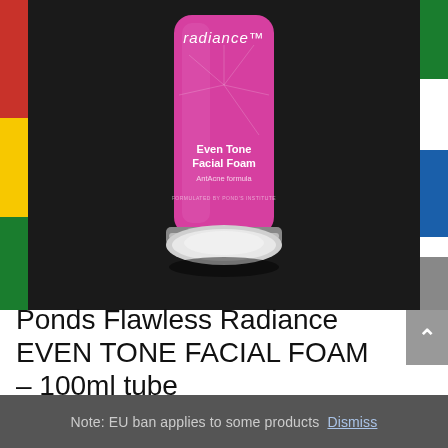[Figure (photo): Product photo of Ponds Flawless Radiance Even Tone Facial Foam 100ml tube (pink tube with white cap) on a dark background, flanked by colorful fabric on the sides.]
Ponds Flawless Radiance EVEN TONE FACIAL FOAM – 100ml tube
Note: EU ban applies to some products  Dismiss